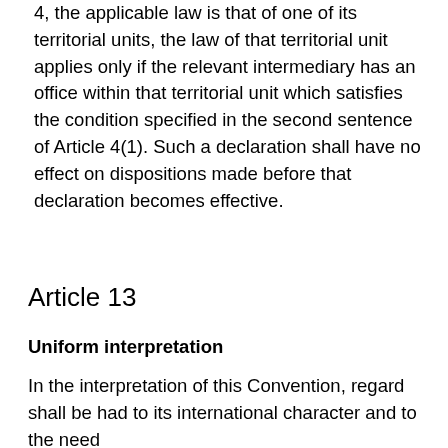4, the applicable law is that of one of its territorial units, the law of that territorial unit applies only if the relevant intermediary has an office within that territorial unit which satisfies the condition specified in the second sentence of Article 4(1). Such a declaration shall have no effect on dispositions made before that declaration becomes effective.
Article 13
Uniform interpretation
In the interpretation of this Convention, regard shall be had to its international character and to the need